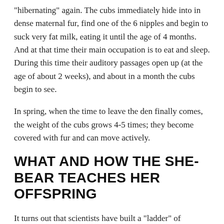“hibernating” again. The cubs immediately hide into in dense maternal fur, find one of the 6 nipples and begin to suck very fat milk, eating it until the age of 4 months. And at that time their main occupation is to eat and sleep. During this time their auditory passages open up (at the age of about 2 weeks), and about in a month the cubs begin to see.
In spring, when the time to leave the den finally comes, the weight of the cubs grows 4-5 times; they become covered with fur and can move actively.
WHAT AND HOW THE SHE-BEAR TEACHES HER OFFSPRING
It turns out that scientists have built a “ladder” of responsibility of living creatures in fostering their offspring, and according to this scale, bears take the third place in terms of caring for their offspring after humans and